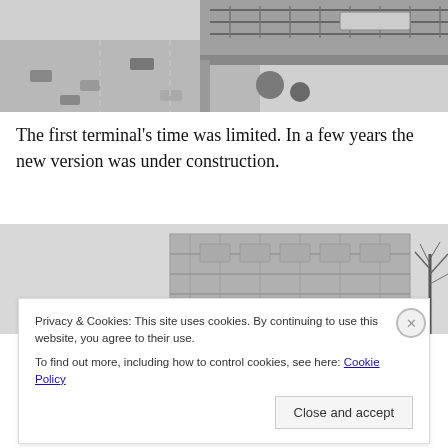[Figure (photo): Aerial black-and-white photograph of a road intersection with cars and an elevated railway/bridge structure with a train.]
The first terminal’s time was limited. In a few years the new version was under construction.
[Figure (photo): Black-and-white photograph of a building under construction with scaffolding, and a bare tree on the right.]
Privacy & Cookies: This site uses cookies. By continuing to use this website, you agree to their use.
To find out more, including how to control cookies, see here: Cookie Policy